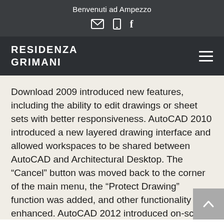Benvenuti ad Ampezzo
RESIDENZA
GRIMANI
Download 2009 introduced new features, including the ability to edit drawings or sheet sets with better responsiveness. AutoCAD 2010 introduced a new layered drawing interface and allowed workspaces to be shared between AutoCAD and Architectural Desktop. The “Cancel” button was moved back to the corner of the main menu, the “Protect Drawing” function was added, and other functionality was enhanced. AutoCAD 2012 introduced on-screen drafting, an enhanced “drafting” toolbar, a “make legible” function, and a new double-sided page feature. Notes External links AutoCAD home page AutoCAD 2010 manual AutoCAD 2012 manual